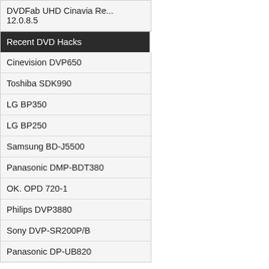DVDFab UHD Cinavia Re... 12.0.8.5
Recent DVD Hacks
Cinevision DVP650
Toshiba SDK990
LG BP350
LG BP250
Samsung BD-J5500
Panasonic DMP-BDT380
OK. OPD 720-1
Philips DVP3880
Sony DVP-SR200P/B
Panasonic DP-UB820
Policy  About  Advertise  Forum  RSS
Feeds  Statistics  Software
Site layout: Default  Classic  Blue  Width  Thumbnails
Change